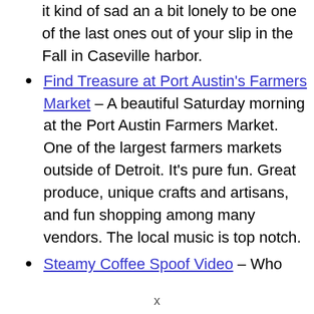it kind of sad an a bit lonely to be one of the last ones out of your slip in the Fall in Caseville harbor.
Find Treasure at Port Austin's Farmers Market – A beautiful Saturday morning at the Port Austin Farmers Market. One of the largest farmers markets outside of Detroit. It's pure fun. Great produce, unique crafts and artisans, and fun shopping among many vendors. The local music is top notch.
Steamy Coffee Spoof Video – Who